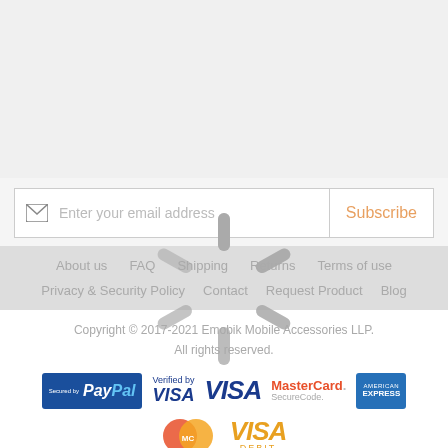[Figure (other): Top gray background area]
[Figure (infographic): Email subscription bar with envelope icon, placeholder text 'Enter your email address', and orange 'Subscribe' button]
About us   FAQ   Shipping   Returns   Terms of use
Privacy & Security Policy   Contact   Request Product   Blog
Copyright © 2017-2021 Emobik Mobile Accessories LLP.
All rights reserved.
[Figure (infographic): Payment logos row 1: Secured by PayPal, Verified by VISA, VISA, MasterCard SecureCode, American Express]
[Figure (infographic): Payment logos row 2: MasterCard circle logo, VISA DEBIT]
[Figure (other): Loading spinner overlay graphic (starburst/radial lines pattern in gray)]